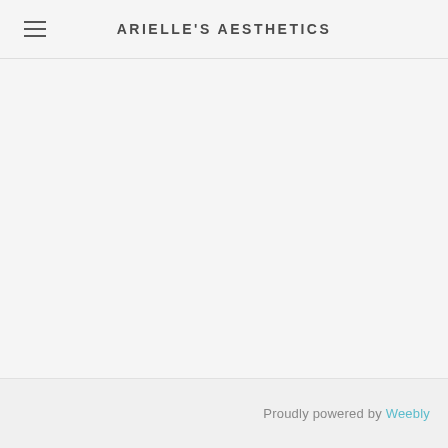ARIELLE'S AESTHETICS
Proudly powered by Weebly